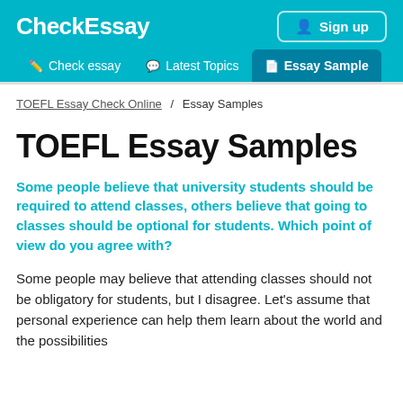CheckEssay
Sign up
Check essay | Latest Topics | Essay Samples
TOEFL Essay Check Online / Essay Samples
TOEFL Essay Samples
Some people believe that university students should be required to attend classes, others believe that going to classes should be optional for students. Which point of view do you agree with?
Some people may believe that attending classes should not be obligatory for students, but I disagree. Let's assume that personal experience can help them learn about the world and the possibilities...